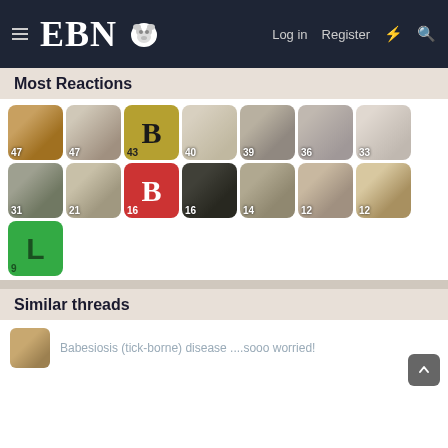EBN — Log in | Register
Most Reactions
[Figure (photo): Grid of 15 bulldog avatar photos/icons with reaction counts: 47, 47, 43, 40, 39, 36, 33, 31, 21, 16, 16, 14, 12, 12, 9]
Similar threads
Babesiosis (tick-borne) disease ....sooo worried!